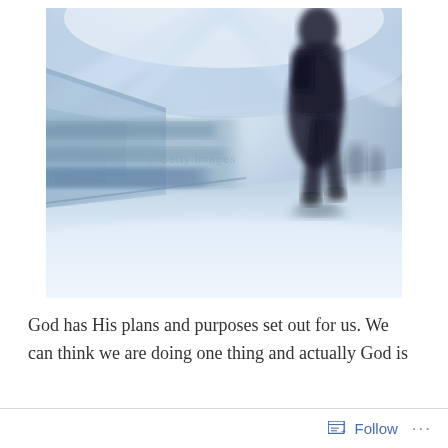[Figure (photo): Blurred motion photo of a person walking in a corridor or hallway with blue-white tones and motion blur effect. A dark silhouette of a person is visible on the right side walking away from the camera.]
God has His plans and purposes set out for us. We can think we are doing one thing and actually God is
Follow ...